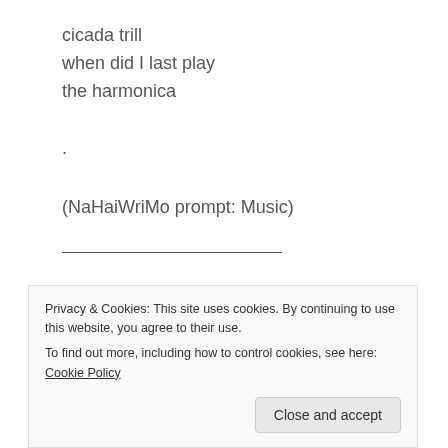cicada trill
when did I last play
the harmonica
.
(NaHaiWriMo prompt: Music)
___________________________
Moving on: NaHaiWriMo prompt for April 1oth (the
start of National Library Week)
Privacy & Cookies: This site uses cookies. By continuing to use this website, you agree to their use.
To find out more, including how to control cookies, see here: Cookie Policy
Close and accept